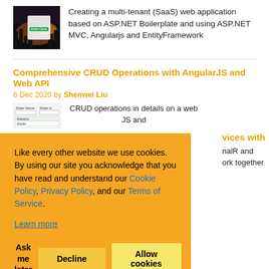[Figure (screenshot): Thumbnail image showing a night city scene with a login dialog overlay]
Creating a multi-tenant (SaaS) web application based on ASP.NET Boilerplate and using ASP.NET MVC, Angularjs and EntityFramework
Comprehensive CRUD Operations with AngularJS and Web API
6 Dec 2020 by Shenwei Liu
[Figure (screenshot): Thumbnail showing a web form with State Name and State Is fields]
CRUD operations in details on a web …JS and
…vices with
…nalR and …ork together
Like every other website we use cookies. By using our site you acknowledge that you have read and understand our Cookie Policy, Privacy Policy, and our Terms of Service.
Learn more
Ask me later
Decline
Allow cookies